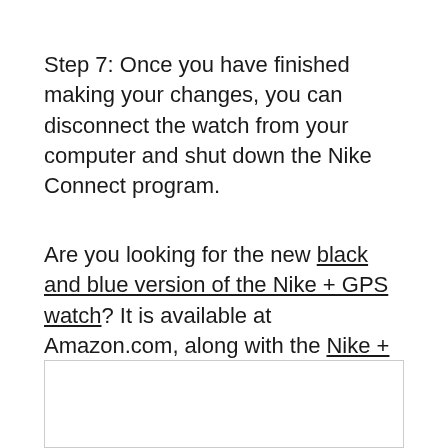Step 7: Once you have finished making your changes, you can disconnect the watch from your computer and shut down the Nike Connect program.
Are you looking for the new black and blue version of the Nike + GPS watch? It is available at Amazon.com, along with the Nike + Sportsband.
[Figure (other): Empty bordered rectangle/box at the bottom of the page]